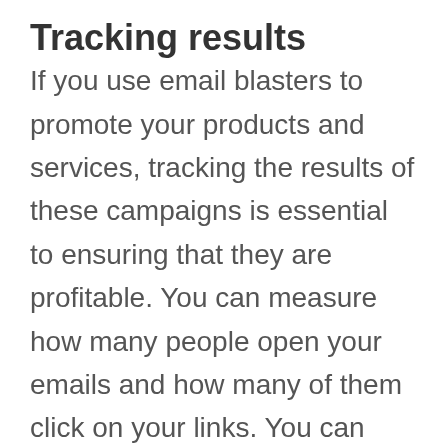Tracking results
If you use email blasters to promote your products and services, tracking the results of these campaigns is essential to ensuring that they are profitable. You can measure how many people open your emails and how many of them click on your links. You can also see how many of your subscribers unsubscribe. These statistics help you make the right decisions regarding future marketing efforts. This article provides a few